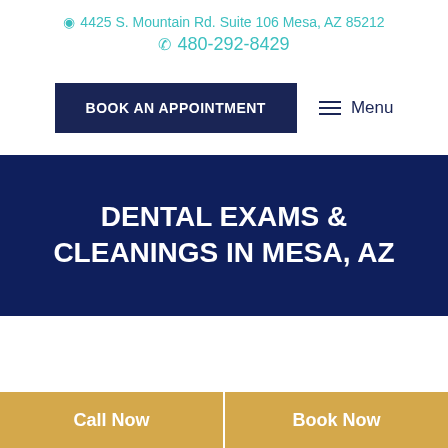4425 S. Mountain Rd. Suite 106 Mesa, AZ 85212
480-292-8429
BOOK AN APPOINTMENT
Menu
DENTAL EXAMS & CLEANINGS IN MESA, AZ
Call Now
Book Now